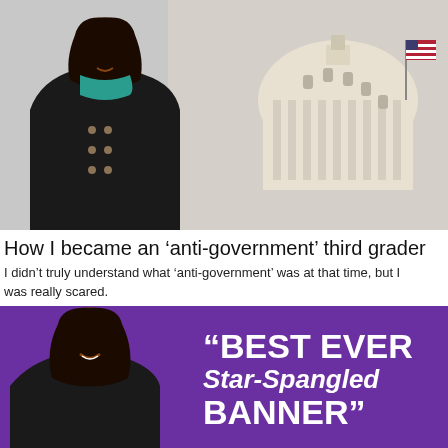[Figure (photo): Woman in black coat standing in front of the US Capitol building with American flag visible]
How I became an ‘anti-government’ third grader
I didn’t truly understand what ‘anti-government’ was at that time, but I was really scared.
[Figure (photo): Woman smiling in front of purple background with text “BEST EVER Star-Spangled BANNER”]